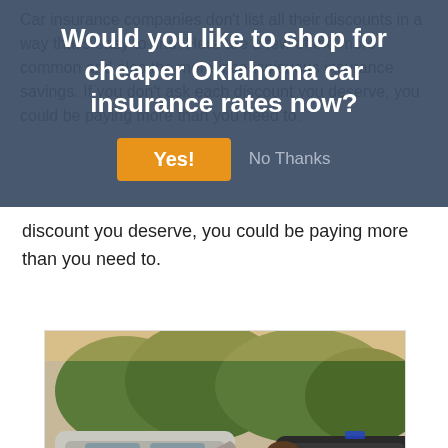Car insurance companies don't list all their discounts in a way that's easy to find. Here are a few of the more common and also the more inconspicuous insurance savings. If you don't ask each discount you deserve, you could be paying more than you need to.
Would you like to shop for cheaper Oklahoma car insurance rates now?
Yes! | No Thanks
discount you deserve, you could be paying more than you need to.
[Figure (photo): A man crouching on the ground talking on his phone after a car accident, with two damaged cars visible in the background outdoors.]